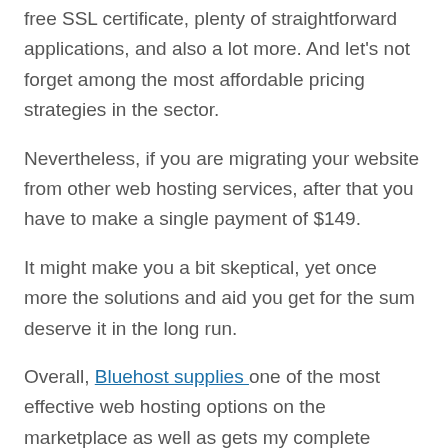free SSL certificate, plenty of straightforward applications, and also a lot more. And let's not forget among the most affordable pricing strategies in the sector.
Nevertheless, if you are migrating your website from other web hosting services, after that you have to make a single payment of $149.
It might make you a bit skeptical, yet once more the solutions and aid you get for the sum deserve it in the long run.
Overall, Bluehost supplies one of the most effective web hosting options on the marketplace as well as gets my complete recommendation.
Get going with Bluehost today.